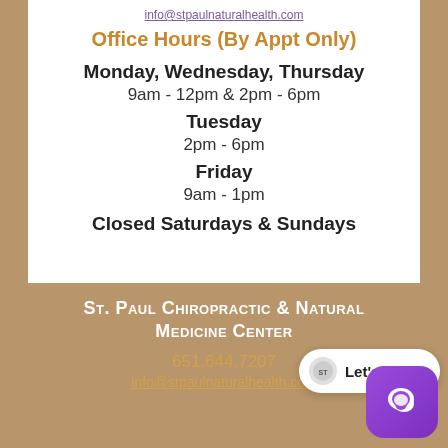info@stpaulnaturalhealth.com
Office Hours (By Appt Only)
Monday, Wednesday, Thursday
9am - 12pm & 2pm - 6pm
Tuesday
2pm - 6pm
Friday
9am - 1pm
Closed Saturdays & Sundays
St. Paul Chiropractic & Natural Medicine Center
651.644.7207
info@stpaulnaturalhealth.com